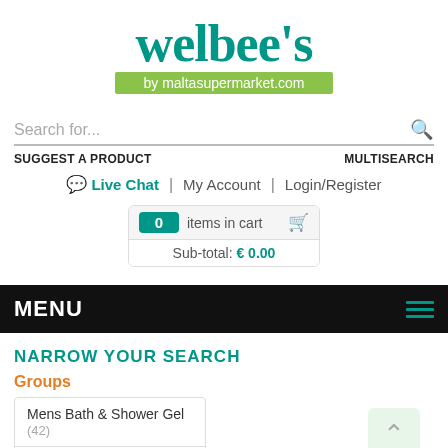[Figure (logo): Welbee's logo with 'by maltasupermarket.com' green tagline banner]
Search for...
SUGGEST A PRODUCT    MULTISEARCH
Live Chat | My Account | Login/Register
0 items in cart  Sub-total: € 0.00
MENU
NARROW YOUR SEARCH
Groups
Mens Bath & Shower Gel (42)
Mens Blades & Razors